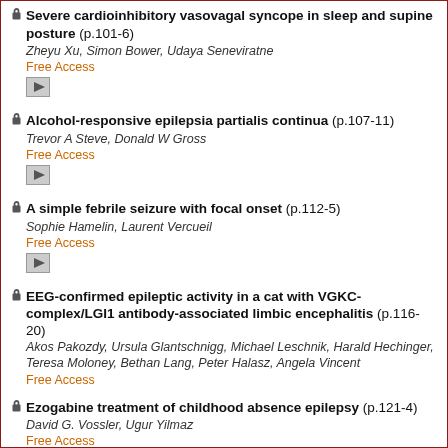Severe cardioinhibitory vasovagal syncope in sleep and supine posture (p.101-6)
Zheyu Xu, Simon Bower, Udaya Seneviratne
Free Access
Alcohol-responsive epilepsia partialis continua (p.107-11)
Trevor A Steve, Donald W Gross
Free Access
A simple febrile seizure with focal onset (p.112-5)
Sophie Hamelin, Laurent Vercueil
Free Access
EEG-confirmed epileptic activity in a cat with VGKC-complex/LGI1 antibody-associated limbic encephalitis (p.116-20)
Akos Pakozdy, Ursula Glantschnigg, Michael Leschnik, Harald Hechinger, Teresa Moloney, Bethan Lang, Peter Halasz, Angela Vincent
Free Access
Ezogabine treatment of childhood absence epilepsy (p.121-4)
David G. Vossler, Ugur Yilmaz
Free Access
Mesial temporal extraventricular neurocytoma: a rare cause of refractory complex partial seizure (p.125-31)
Rui Feng, Jie Hu, Jinsong Wu, Liqin Lang, Bei Wang, Haixia Bi, Xin Gu, Jun